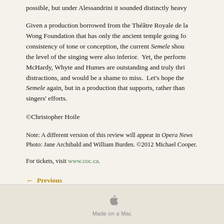possible, but under Alessandrini it sounded distinctly heavy
Given a production borrowed from the Théâtre Royale de la Monnaie/De Munt and the Luminato/William Wong Foundation that has only the ancient temple going for it in terms of consistency of tone or conception, the current Semele should have failed if the level of the singing were also inferior. Yet, the performances of McHardy, Whyte and Humes are outstanding and truly thrilling despite these distractions, and would be a shame to miss. Let's hope the COC brings back Semele again, but in a production that supports, rather than undermines, the singers' efforts.
©Christopher Hoile
Note: A different version of this review will appear in Opera News. Photo: Jane Archibald and William Burden. ©2012 Michael Cooper.
For tickets, visit www.coc.ca.
← Previous
[Figure (logo): Apple 'Made on a Mac' logo and text at the bottom of the page]